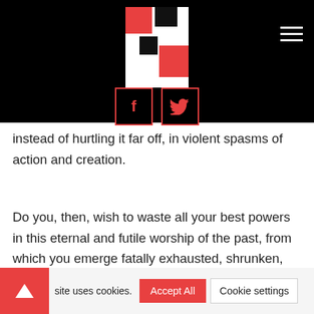[Figure (logo): Abstract logo with red and black squares on white background, displayed in black header bar]
[Figure (illustration): Facebook icon in red-bordered square]
[Figure (illustration): Twitter bird icon in red-bordered square]
instead of hurtling it far off, in violent spasms of action and creation.
Do you, then, wish to waste all your best powers in this eternal and futile worship of the past, from which you emerge fatally exhausted, shrunken, beaten down?
site uses cookies.
Accept All
Cookie settings